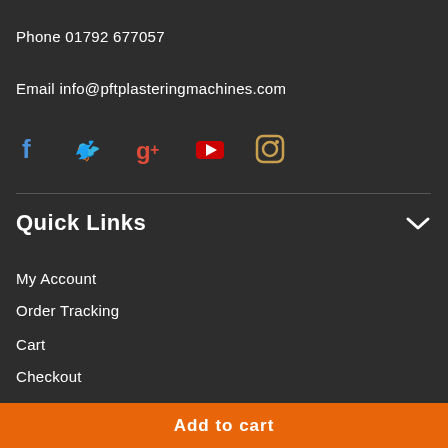Phone 01792 677057
Email info@pftplasteringmachines.com
[Figure (other): Social media icons: Facebook (blue), Twitter (blue), Google+ (red), YouTube (red), Instagram (brown/gold)]
Quick Links
My Account
Order Tracking
Cart
Checkout
Wishlist
Add to cart